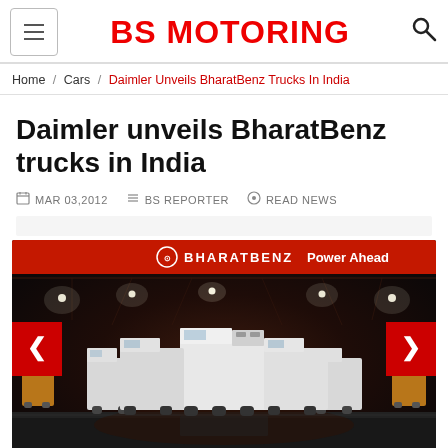BS MOTORING
Home / Cars / Daimler Unveils BharatBenz Trucks In India
Daimler unveils BharatBenz trucks in India
MAR 03,2012  BS REPORTER  READ NEWS
[Figure (photo): BharatBenz truck launch event inside a large exhibition hall with multiple trucks displayed, red banner with BHARATBENZ and 'Power Ahead' text, navigation arrows on sides]